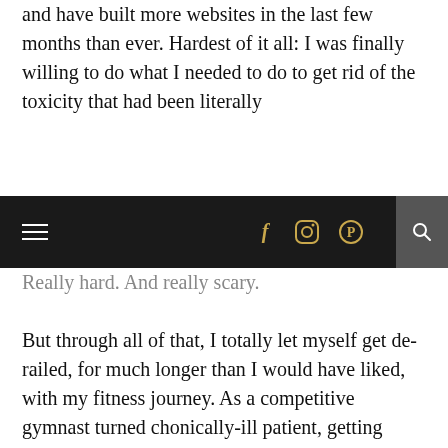and have built more websites in the last few months than ever. Hardest of it all: I was finally willing to do what I needed to do to get rid of the toxicity that had been literally
[Figure (screenshot): Website navigation bar with dark/black background. Left side has a hamburger menu icon (three horizontal lines in white). Center has social media icons: f (Facebook), Instagram circle icon, Pinterest circle icon in gold/yellow color. Right side has a search magnifying glass icon on a grey background box.]
Really hard. And really scary. But through all of that, I totally let myself get de-railed, for much longer than I would have liked, with my fitness journey. As a competitive gymnast turned chonically-ill patient, getting “back in my body” and feeling strong was so redeeming. So encouraging. So invigorating. It gave me confidence in every other area of my life. This isn’t about being skinny. It’s about being and feeling healthy in your own skin. Being in the kind of shape that allows you to do amazing things like climb